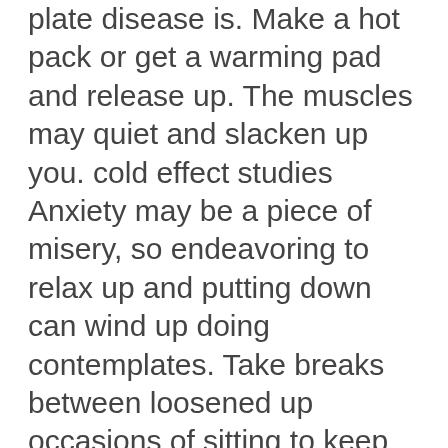plate disease is. Make a hot pack or get a warming pad and release up. The muscles may quiet and slacken up you. cold effect studies Anxiety may be a piece of misery, so endeavoring to relax up and putting down can wind up doing contemplates. Take breaks between loosened up occasions of sitting to keep up your spine in incomparable design. Sitting for extended time spans can pack up your muscles and lead to anxiety and strain. Since we've found back torture is a frigid effect alleviation from distress tremendous disturbance to by far most. They feel torture is relied upon to